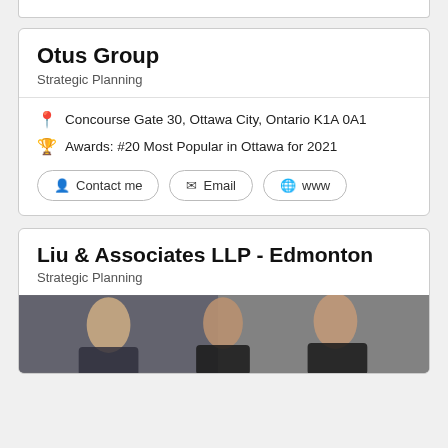Otus Group
Strategic Planning
Concourse Gate 30, Ottawa City, Ontario K1A 0A1
Awards: #20 Most Popular in Ottawa for 2021
Contact me
Email
www
Liu & Associates LLP - Edmonton
Strategic Planning
[Figure (photo): Group photo of three people (two men and a woman) in business attire in an office setting]